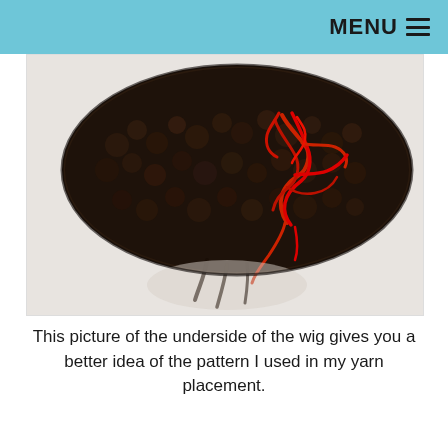MENU
[Figure (photo): Close-up photograph of the underside of a yarn wig showing dark brown/black knitted texture with red yarn woven in a pattern across the surface, viewed from below against a white background.]
This picture of the underside of the wig gives you a better idea of the pattern I used in my yarn placement.